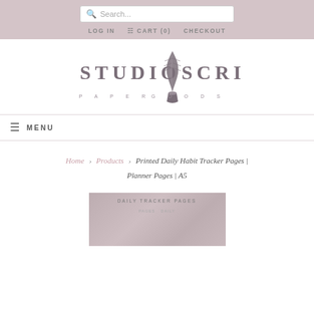Search... LOG IN  CART (0)  CHECKOUT
[Figure (logo): Studio Scribe Paper Goods logo with quill pen and ink well]
≡ MENU
Home > Products > Printed Daily Habit Tracker Pages | Planner Pages | A5
[Figure (photo): Product preview image showing Daily Tracker Pages with planner page inserts]